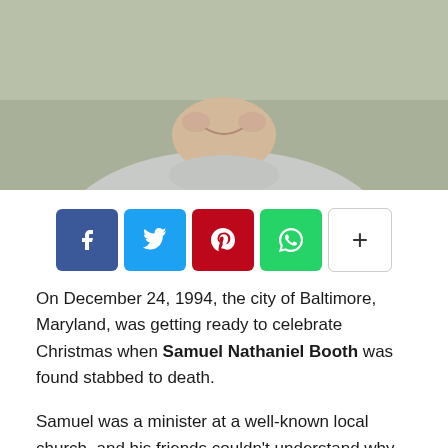[Figure (photo): Partial photo of a person wearing a light grey turtleneck, lower half of face and neck visible, against a muted green/grey background.]
[Figure (infographic): Social sharing buttons row: Facebook (blue), Twitter (cyan), Pinterest (red), WhatsApp (green), and a plus/more button (white).]
On December 24, 1994, the city of Baltimore, Maryland, was getting ready to celebrate Christmas when Samuel Nathaniel Booth was found stabbed to death.
Samuel was a minister at a well-known local church, and his friends couldn't understand why someone would want to harm a man of God.
'Shattered: False Prophet,' a documentary on Investigation Discovery, explores the murder and how the subsequent